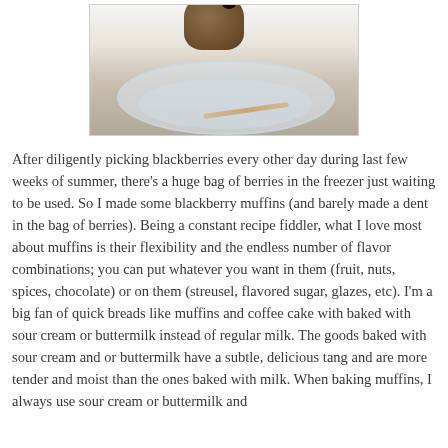[Figure (photo): A blackberry muffin on a glass plate or stand, photographed from above on a white background, with a wooden skewer or stick visible.]
After diligently picking blackberries every other day during last few weeks of summer, there's a huge bag of berries in the freezer just waiting to be used. So I made some blackberry muffins (and barely made a dent in the bag of berries). Being a constant recipe fiddler, what I love most about muffins is their flexibility and the endless number of flavor combinations; you can put whatever you want in them (fruit, nuts, spices, chocolate) or on them (streusel, flavored sugar, glazes, etc). I'm a big fan of quick breads like muffins and coffee cake with baked with sour cream or buttermilk instead of regular milk. The goods baked with sour cream and or buttermilk have a subtle, delicious tang and are more tender and moist than the ones baked with milk. When baking muffins, I always use sour cream or buttermilk and